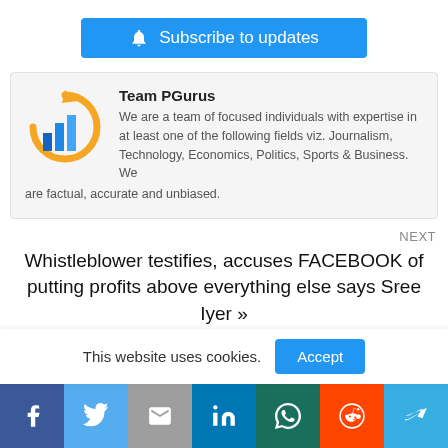[Figure (other): Blue Subscribe to updates button with bell icon]
[Figure (other): Team PGurus author card with logo, name and description]
NEXT
Whistleblower testifies, accuses FACEBOOK of putting profits above everything else says Sree Iyer »
PREVIOUS
This website uses cookies. Accept
[Figure (other): Social sharing bar with Facebook, Twitter, Gmail, LinkedIn, WhatsApp, Reddit, Telegram icons]